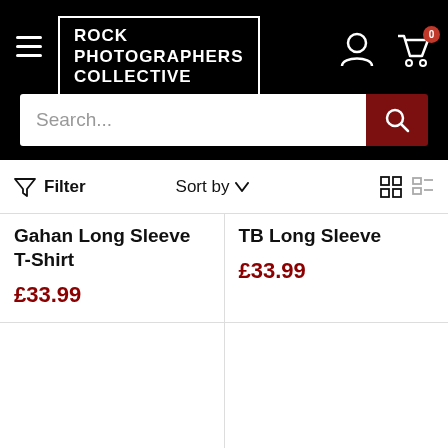Rock Photographers Collective — navigation header with search
Filter   Sort by
Gahan Long Sleeve T-Shirt
£33.99
TB Long Sleeve
£33.99